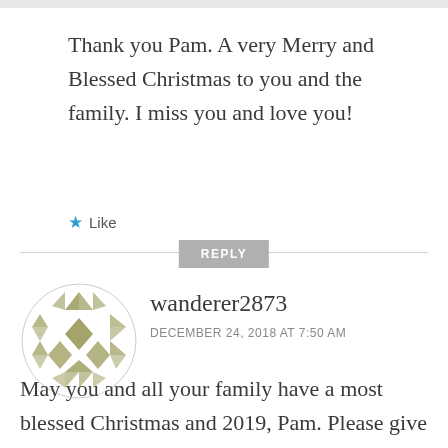Thank you Pam. A very Merry and Blessed Christmas to you and the family. I miss you and love you!
★ Like
REPLY
[Figure (illustration): Circular avatar icon with geometric/mosaic pattern in olive/khaki colors]
wanderer2873
DECEMBER 24, 2018 AT 7:50 AM
May you and all your family have a most blessed Christmas and 2019, Pam. Please give the Kids and Rowan and big hug from me. Love you!